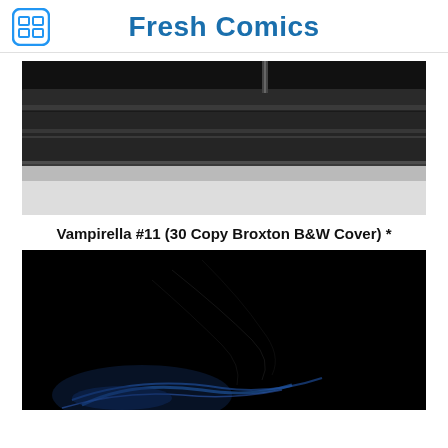Fresh Comics
[Figure (photo): Black and white photo showing a printing press roller or metal machinery with dark industrial textures and light reflections]
Vampirella #11 (30 Copy Broxton B&W Cover) *
[Figure (photo): Dark, nearly black image with subtle blue swirling light streaks and faint line details on a black background, appearing to be a comic book cover in progress]